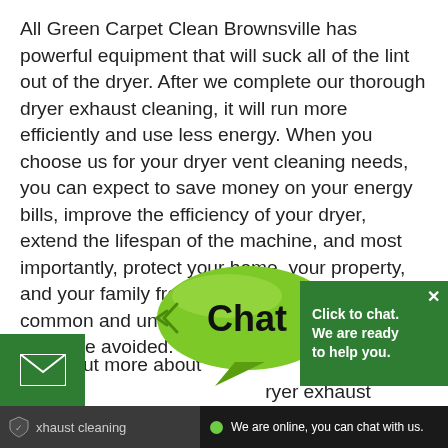All Green Carpet Clean Brownsville has powerful equipment that will suck all of the lint out of the dryer. After we complete our thorough dryer exhaust cleaning, it will run more efficiently and use less energy. When you choose us for your dryer vent cleaning needs, you can expect to save money on your energy bills, improve the efficiency of your dryer, extend the lifespan of the machine, and most importantly, protect your home, your property, and your family from a dryer fire, which is a common and unfortunate occurrence that could easily be avoided.
ind out more about dryer exhaust cleaning and dryer vent cl...
[Figure (infographic): Green chat bubble overlay with 'Chat' text, green square email button with envelope icon, click-to-chat box with text 'Click to chat. We are ready to help you.' and close X button]
xhaust cleaning, contact All Green Carpet Cle...
We are online, you can chat with us.